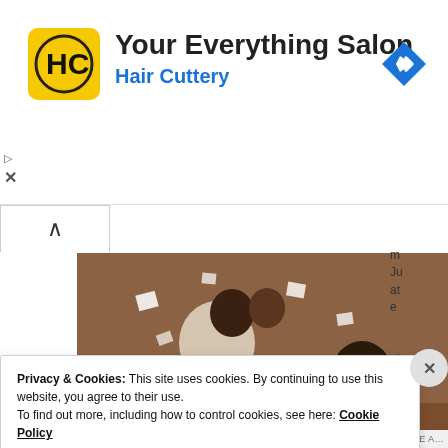[Figure (screenshot): Advertisement banner for Hair Cuttery salon with logo (HC in yellow square), text 'Your Everything Salon' and 'Hair Cuttery' in blue, and a blue diamond navigation arrow icon on the right.]
[Figure (photo): A photograph showing people in a room with warm brown/orange tones. A man in a white shirt holds a baby while a woman sits in the background. Papers are scattered in the air.]
Privacy & Cookies: This site uses cookies. By continuing to use this website, you agree to their use.
To find out more, including how to control cookies, see here: Cookie Policy